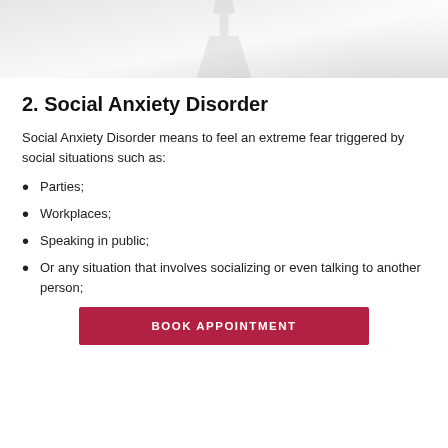[Figure (photo): Partial photo of a person's lower body/silhouette in light gray tones, cropped at top of page]
2. Social Anxiety Disorder
Social Anxiety Disorder means to feel an extreme fear triggered by social situations such as:
Parties;
Workplaces;
Speaking in public;
Or any situation that involves socializing or even talking to another person;
BOOK APPOINTMENT